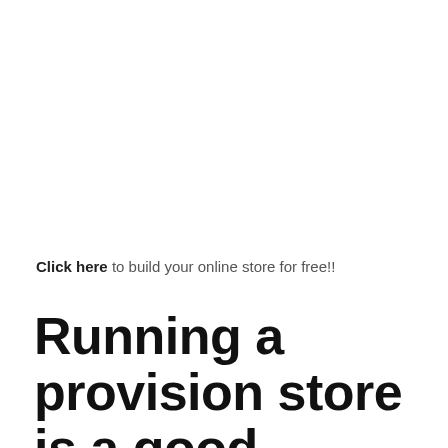Click here to build your online store for free!!
Running a provision store is a good business in India because of the
[Figure (illustration): Teal/green filled circle in the bottom-right corner of the page]